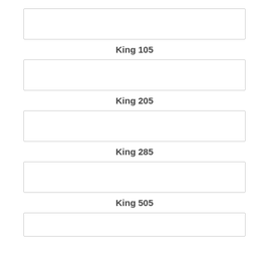[Figure (other): Empty input box 1]
King 105
[Figure (other): Empty input box 2]
King 205
[Figure (other): Empty input box 3]
King 285
[Figure (other): Empty input box 4]
King 505
[Figure (other): Empty input box 5]